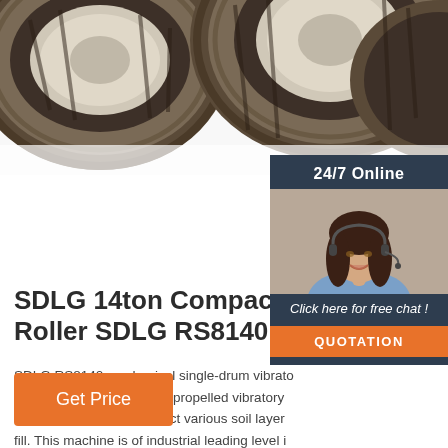[Figure (photo): Photo of large tractor/compactor tires viewed from below at close range, showing tread detail against a white background.]
[Figure (photo): 24/7 Online customer service representative — smiling woman with headset, shown in a dark navy panel on the right side.]
SDLG 14ton Compactor RS8 Roller SDLG RS8140
SDLG RS8140 mechanical single-drum vibratory roller is a heavy-duty auto-propelled vibratory and can effectively compact various soil layer fill. This machine is of industrial leading level in compacting, driving and operating performance, reliability, repair and maintenance It is ideal compacting equipment for ...
Get Price